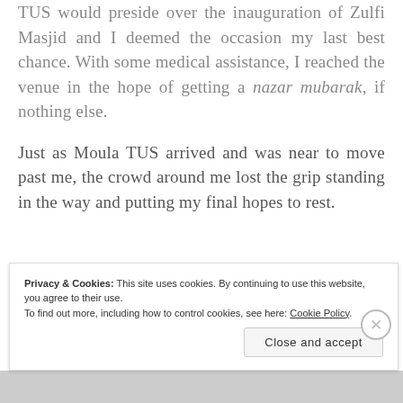TUS would preside over the Inauguration of Zulfi Masjid and I deemed the occasion my last best chance. With some medical assistance, I reached the venue in the hope of getting a nazar mubarak, if nothing else.
Just as Moula TUS arrived and was near to move past me, the crowd around me lost the grip standing in the way and putting my final hopes to rest.
Privacy & Cookies: This site uses cookies. By continuing to use this website, you agree to their use. To find out more, including how to control cookies, see here: Cookie Policy